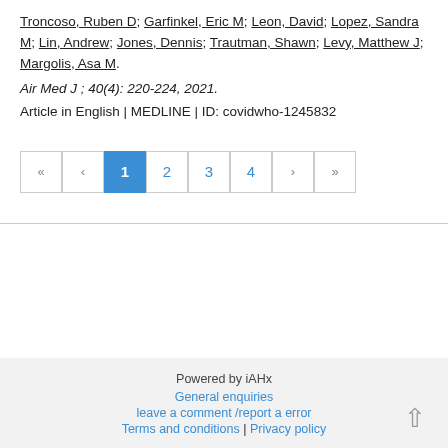Troncoso, Ruben D; Garfinkel, Eric M; Leon, David; Lopez, Sandra M; Lin, Andrew; Jones, Dennis; Trautman, Shawn; Levy, Matthew J; Margolis, Asa M.
Air Med J ; 40(4): 220-224, 2021.
Article in English | MEDLINE | ID: covidwho-1245832
« < 1 2 3 4 > »
Powered by iAHx
General enquiries
leave a comment /report a error
Terms and conditions | Privacy policy